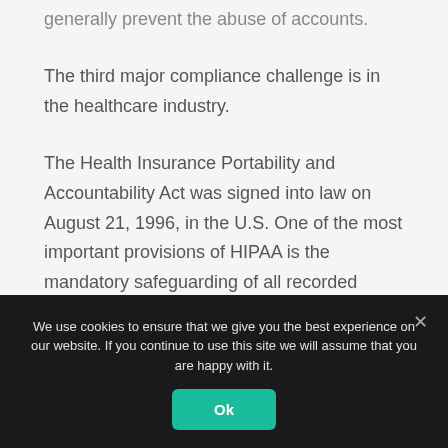generally prevent the abuse of accounts.
The third major compliance challenge is in the healthcare industry.
The Health Insurance Portability and Accountability Act was signed into law on August 21, 1996, in the U.S. One of the most important provisions of HIPAA is the mandatory safeguarding of all recorded personal health information (PHI), including PHI stored in an electronic form (ePHI).
We use cookies to ensure that we give you the best experience on our website. If you continue to use this site we will assume that you are happy with it.